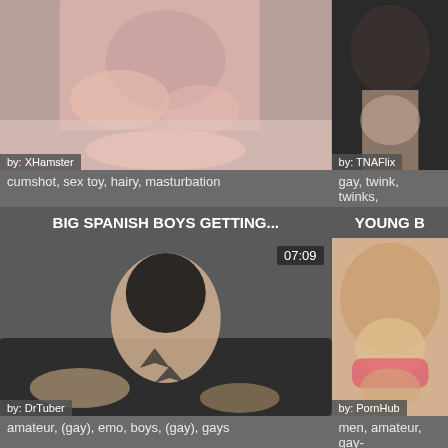[Figure (photo): Top-left thumbnail: blurred adult video thumbnail, by XHamster]
[Figure (photo): Top-right thumbnail: blurred adult video thumbnail, by TNAFlix]
cumshot, sex toy, hairy, masturbation
gay, twink, twinks,
BIG SPANISH BOYS GETTING...
YOUNG B
[Figure (photo): Bottom-left thumbnail: blurred adult video thumbnail, duration 07:09, by DrTuber]
[Figure (photo): Bottom-right thumbnail: blurred adult video thumbnail, by PornHub]
amateur, (gay), emo, boys, (gay), gays
men, amateur, gay-
TWO BOYS PICK UP TEEN...
BLONDE